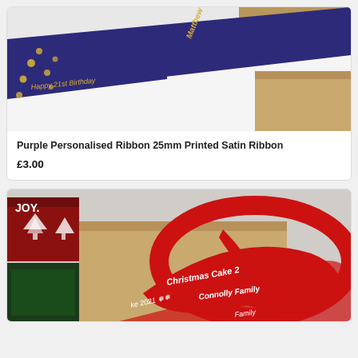[Figure (photo): Purple personalised satin ribbon with gold text reading 'Happy 21st Birthday Matthew', arranged on a white surface with gold confetti sequins and a brown kraft gift box]
Purple Personalised Ribbon 25mm Printed Satin Ribbon
£3.00
[Figure (photo): Red personalised satin ribbon with white text reading 'Christmas Cake 2021 Connolly Family', wrapped around a brown kraft gift box with Christmas decorative boxes in the background]